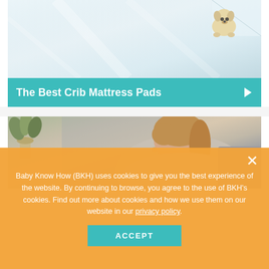[Figure (photo): White crib mattress with sheer fabric and a small plush dog toy in upper right corner]
The Best Crib Mattress Pads
[Figure (photo): Woman with brown hair wearing a light grey top, sitting near a plant and grey cushions]
Baby Know How (BKH) uses cookies to give you the best experience of the website. By continuing to browse, you agree to the use of BKH's cookies. Find out more about cookies and how we use them on our website in our privacy policy.
ACCEPT